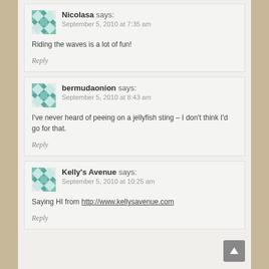Nicolasa says: September 5, 2010 at 7:35 am
Riding the waves is a lot of fun!
Reply
bermudaonion says: September 5, 2010 at 8:43 am
I've never heard of peeing on a jellyfish sting – I don't think I'd go for that.
Reply
Kelly's Avenue says: September 5, 2010 at 10:25 am
Saying HI from http://www.kellysavenue.com
Reply